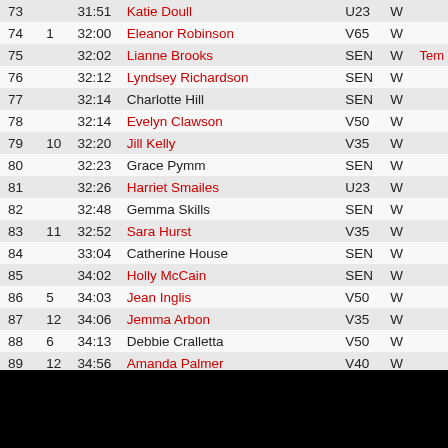| Pos | Cat | Time | Name | Age | Sex | Note |
| --- | --- | --- | --- | --- | --- | --- |
| 73 |  | 31:51 | Katie Doull | U23 | W |  |
| 74 | 1 | 32:00 | Eleanor Robinson | V65 | W |  |
| 75 |  | 32:02 | Lianne Brooks | SEN | W | Tem |
| 76 |  | 32:12 | Lyndsey Richardson | SEN | W |  |
| 77 |  | 32:14 | Charlotte Hill | SEN | W |  |
| 78 |  | 32:14 | Evelyn Clawson | V50 | W |  |
| 79 | 10 | 32:20 | Jill Kelly | V35 | W |  |
| 80 |  | 32:23 | Grace Pymm | SEN | W |  |
| 81 |  | 32:26 | Harriet Smailes | U23 | W |  |
| 82 |  | 32:48 | Gemma Skills | SEN | W |  |
| 83 | 11 | 32:52 | Sara Hurst | V35 | W |  |
| 84 |  | 33:04 | Catherine House | SEN | W |  |
| 85 |  | 34:02 | Holly McCain | SEN | W |  |
| 86 | 5 | 34:03 | Jean Inglis | V50 | W |  |
| 87 | 12 | 34:06 | Jemma Arbon | V35 | W |  |
| 88 | 6 | 34:13 | Debbie Cralletta | V50 | W |  |
| 89 | 12 | 34:56 | Amanda Palmer | V40 | W |  |
| 90 | 2 | 36:42 | Valerie Lindsey | V65 | W |  |
| 91 | 1 | 38:04 | Christine Cregg | V60 | W |  |